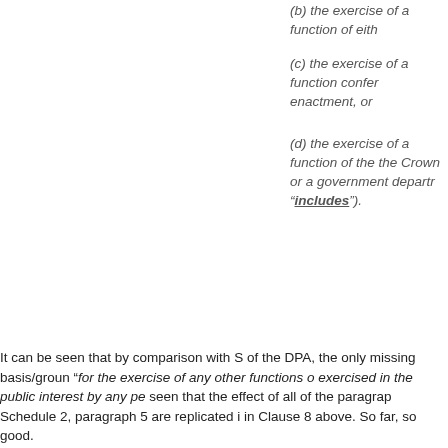(b) the exercise of a function of eith
(c) the exercise of a function confer enactment, or
(d) the exercise of a function of the the Crown or a government departr “includes”).
It can be seen that by comparison with S of the DPA, the only missing basis/groun “for the exercise of any other functions o exercised in the public interest by any pe seen that the effect of all of the paragrap Schedule 2, paragraph 5 are replicated i in Clause 8 above. So far, so good.
However, the Explanatory Notes concern
“85 ….. Article 6(2) of the GDPR en to, amongst other things, set out mo in respect of Article 6(1)(c) and (e).
86 This clause provides a non-ex examples of processing under Ar includes processing of personal da